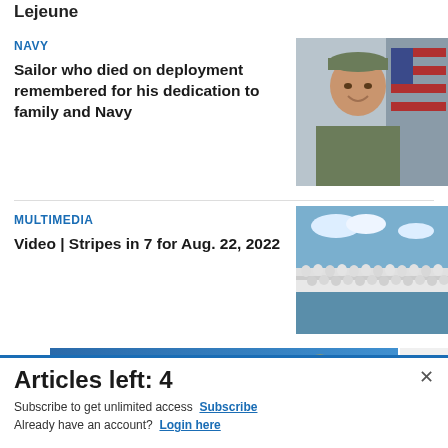Lejeune
NAVY
Sailor who died on deployment remembered for his dedication to family and Navy
[Figure (photo): Portrait photo of a male servicemember in military camouflage uniform and cap, smiling, with an American flag in the background]
MULTIMEDIA
Video | Stripes in 7 for Aug. 22, 2022
[Figure (photo): Photo of a large group of Navy sailors dressed in white uniforms assembled outdoors]
[Figure (infographic): Advertisement banner for Commissary Click2Go grocery ordering service, showing the Click2Go logo with a green circle, and the Commissary badge logo]
Articles left: 4
Subscribe to get unlimited access  Subscribe
Already have an account?  Login here